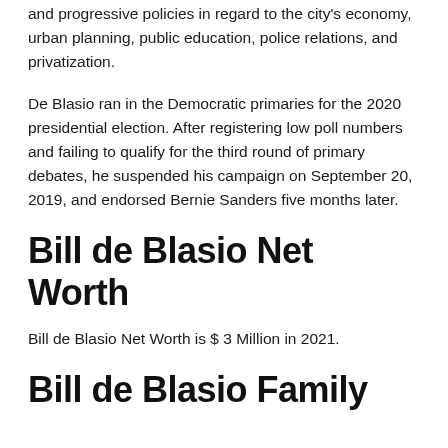and progressive policies in regard to the city's economy, urban planning, public education, police relations, and privatization.
De Blasio ran in the Democratic primaries for the 2020 presidential election. After registering low poll numbers and failing to qualify for the third round of primary debates, he suspended his campaign on September 20, 2019, and endorsed Bernie Sanders five months later.
Bill de Blasio Net Worth
Bill de Blasio Net Worth is $ 3 Million in 2021.
Bill de Blasio Family